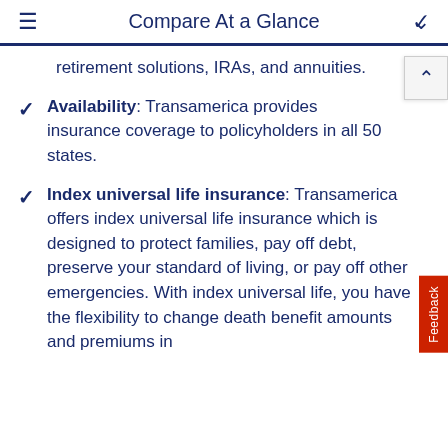Compare At a Glance
retirement solutions, IRAs, and annuities.
Availability: Transamerica provides insurance coverage to policyholders in all 50 states.
Index universal life insurance: Transamerica offers index universal life insurance which is designed to protect families, pay off debt, preserve your standard of living, or pay off other emergencies. With index universal life, you have the flexibility to change death benefit amounts and premiums in addition to building a cash value with i...